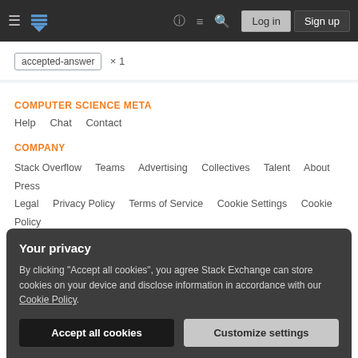Stack Exchange navigation bar with hamburger menu, logo, help, chat, search icons, Log in and Sign up buttons
accepted-answer × 1
COMPUTER SCIENCE META
Help   Chat   Contact
COMPANY
Stack Overflow   Teams   Advertising   Collectives   Talent   About   Press   Legal   Privacy Policy   Terms of Service   Cookie Settings   Cookie Policy
STACK EXCHANGE NETWORK
Your privacy
By clicking "Accept all cookies", you agree Stack Exchange can store cookies on your device and disclose information in accordance with our Cookie Policy.
Accept all cookies   Customize settings